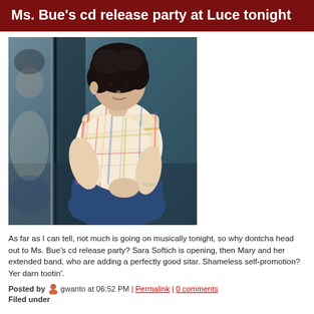Ms. Bue's cd release party at Luce tonight
[Figure (photo): Photo of a woman with curly dark hair wearing a colorful plaid/madras scarf and top, sitting and looking down, against a dark teal background]
As far as I can tell, not much is going on musically tonight, so why dontcha head out to Ms. Bue's cd release party? Sara Softich is opening, then Mary and her extended band, who are adding a perfectly good sitar. Shameless self-promotion? Yer darn tootin'.
Posted by gwanto at 06:52 PM | Permalink | 0 comments
Filed under